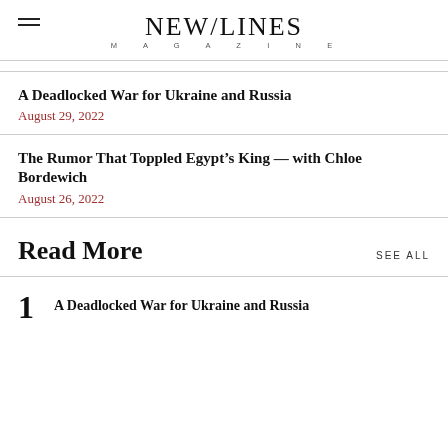NEW/LINES MAGAZINE
A Deadlocked War for Ukraine and Russia
August 29, 2022
The Rumor That Toppled Egypt's King — with Chloe Bordewich
August 26, 2022
Read More
SEE ALL
1  A Deadlocked War for Ukraine and Russia